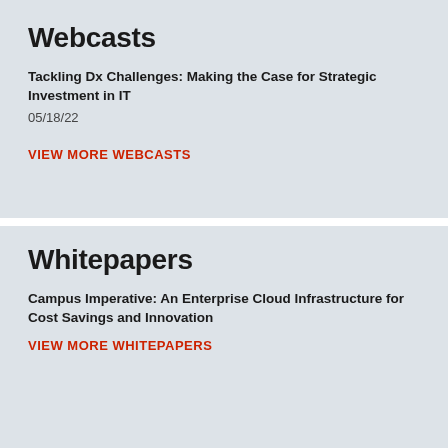Webcasts
Tackling Dx Challenges: Making the Case for Strategic Investment in IT
05/18/22
VIEW MORE WEBCASTS
Whitepapers
Campus Imperative: An Enterprise Cloud Infrastructure for Cost Savings and Innovation
VIEW MORE WHITEPAPERS